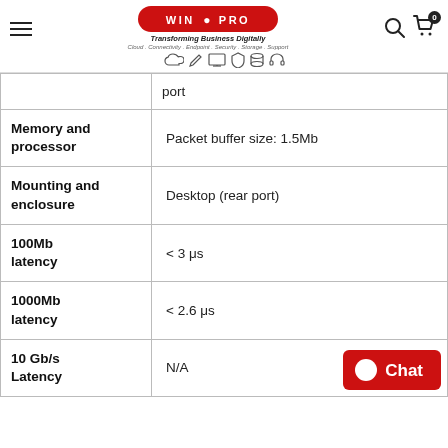[Figure (logo): WIN PRO logo - red oval with white text, tagline 'Transforming Business Digitally', subtitle 'Cloud. Connectivity. Endpoint. Security. Storage. Support.' and service icons]
| Attribute | Value |
| --- | --- |
|  | port |
| Memory and processor | Packet buffer size: 1.5Mb |
| Mounting and enclosure | Desktop (rear port) |
| 100Mb latency | < 3 μs |
| 1000Mb latency | < 2.6 μs |
| 10 Gb/s Latency | N/A |